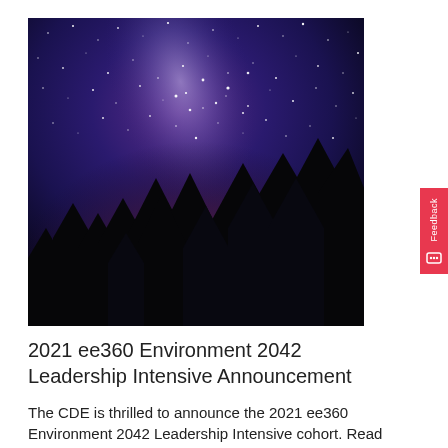[Figure (photo): Night sky photograph showing the Milky Way galaxy with stars and purple/blue hues above a silhouette of pine trees in the foreground]
2021 ee360 Environment 2042 Leadership Intensive Announcement
The CDE is thrilled to announce the 2021 ee360 Environment 2042 Leadership Intensive cohort. Read